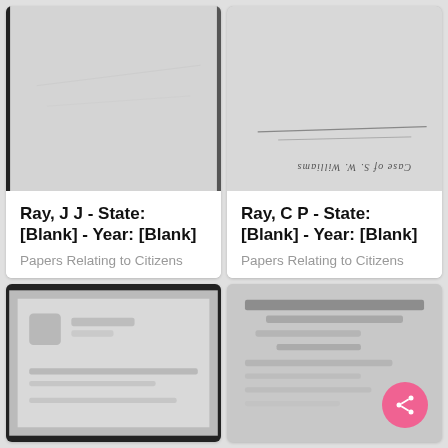[Figure (photo): Scanned historical document page, mostly blank/faded, black and white]
Ray, J J - State: [Blank] - Year: [Blank]
Papers Relating to Citizens
[Figure (photo): Scanned historical document page shown upside down with handwritten text reading 'Case of S. W. Williams']
Ray, C P - State: [Blank] - Year: [Blank]
Papers Relating to Citizens
[Figure (photo): Blurred scanned document with dark border, partially visible]
[Figure (photo): Blurred scanned document with handwritten text, partially visible. Share button overlay in bottom right.]